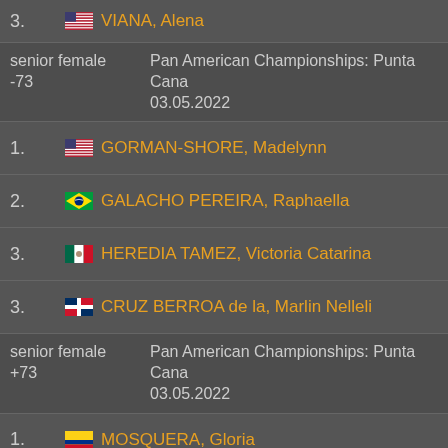3. VIANA, Alena (USA)
senior female -73 | Pan American Championships: Punta Cana 03.05.2022
1. GORMAN-SHORE, Madelynn (USA)
2. GALACHO PEREIRA, Raphaella (BRA)
3. HEREDIA TAMEZ, Victoria Catarina (MEX)
3. CRUZ BERROA de la, Marlin Nelleli (DOM)
senior female +73 | Pan American Championships: Punta Cana 03.05.2022
1. MOSQUERA, Gloria (COL)
2. SIQUEIRA, Gabriele (BRA)
3. RODRIGUEZ PEGUERO, Katherine Julissa (DOM)